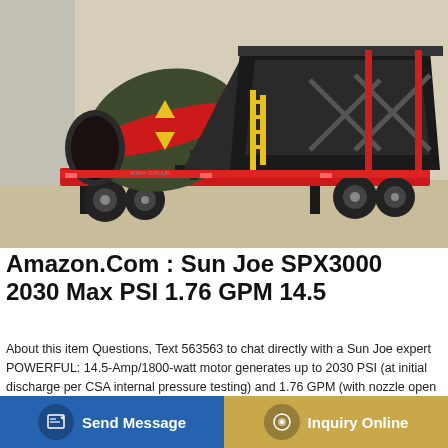[Figure (photo): A large mobile concrete mixer / batching plant on a red flatbed trailer, with a dark olive-green and red rotating drum on the left and an aggregate hopper/bin structure on the right, parked on sandy ground.]
Amazon.Com : Sun Joe SPX3000 2030 Max PSI 1.76 GPM 14.5
About this item Questions, Text 563563 to chat directly with a Sun Joe expert POWERFUL: 14.5-Amp/1800-watt motor generates up to 2030 PSI (at initial discharge per CSA internal pressure testing) and 1.76 GPM (with nozzle open at minimum